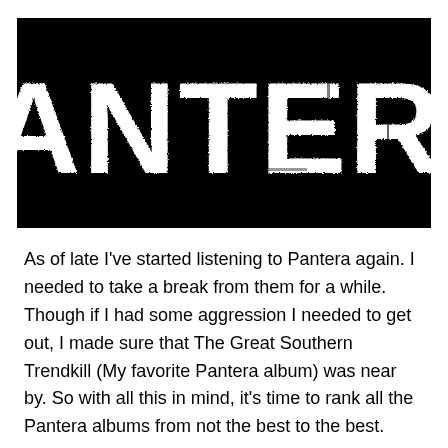[Figure (logo): Pantera band logo — large white distressed/grunge lettering spelling PANTERA on a solid black background]
As of late I've started listening to Pantera again. I needed to take a break from them for a while. Though if I had some aggression I needed to get out, I made sure that The Great Southern Trendkill (My favorite Pantera album) was near by. So with all this in mind, it's time to rank all the Pantera albums from not the best to the best.
Reinventing The Steel: